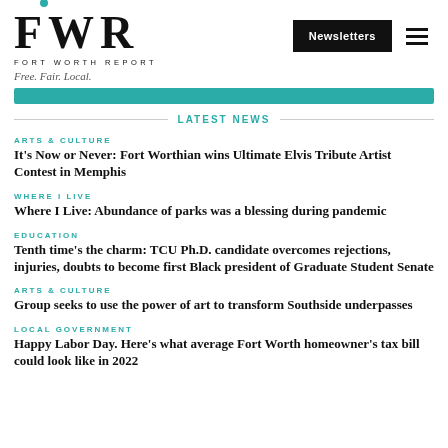[Figure (logo): Fort Worth Report logo with FWR letters and teal dots, tagline Free. Fair. Local.]
LATEST NEWS
ARTS & CULTURE
It's Now or Never: Fort Worthian wins Ultimate Elvis Tribute Artist Contest in Memphis
WHERE I LIVE
Where I Live: Abundance of parks was a blessing during pandemic
EDUCATION
Tenth time's the charm: TCU Ph.D. candidate overcomes rejections, injuries, doubts to become first Black president of Graduate Student Senate
ARTS & CULTURE
Group seeks to use the power of art to transform Southside underpasses
LOCAL GOVERNMENT
Happy Labor Day. Here's what average Fort Worth homeowner's tax bill could look like in 2022